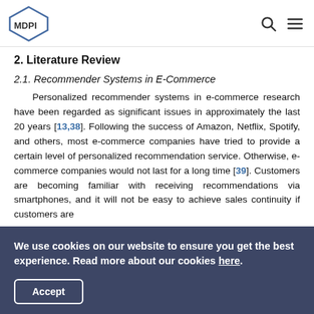MDPI
2. Literature Review
2.1. Recommender Systems in E-Commerce
Personalized recommender systems in e-commerce research have been regarded as significant issues in approximately the last 20 years [13,38]. Following the success of Amazon, Netflix, Spotify, and others, most e-commerce companies have tried to provide a certain level of personalized recommendation service. Otherwise, e-commerce companies would not last for a long time [39]. Customers are becoming familiar with receiving recommendations via smartphones, and it will not be easy to achieve sales continuity if customers are
We use cookies on our website to ensure you get the best experience. Read more about our cookies here.
Accept